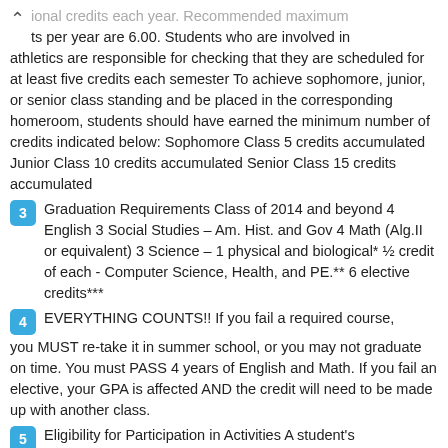ional credits each year. Recommended maximum credits per year are 6.00. Students who are involved in athletics are responsible for checking that they are scheduled for at least five credits each semester To achieve sophomore, junior, or senior class standing and be placed in the corresponding homeroom, students should have earned the minimum number of credits indicated below: Sophomore Class 5 credits accumulated Junior Class 10 credits accumulated Senior Class 15 credits accumulated
3   Graduation Requirements Class of 2014 and beyond 4 English 3 Social Studies – Am. Hist. and Gov 4 Math (Alg.II or equivalent) 3 Science – 1 physical and biological* ½ credit of each - Computer Science, Health, and PE.** 6 elective credits***
4   EVERYTHING COUNTS!! If you fail a required course, you MUST re-take it in summer school, or you may not graduate on time. You must PASS 4 years of English and Math. If you fail an elective, your GPA is affected AND the credit will need to be made up with another class.
5   Eligibility for Participation in Activities A student's eligibility for participation shall be based on his/her grade point average by the immediately preceding grading period